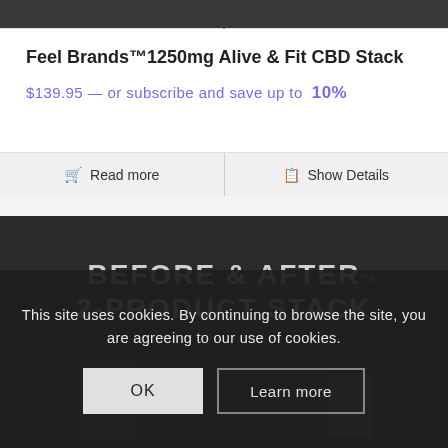Feel Brands™1250mg Alive & Fit CBD Stack
$139.95 — or subscribe and save up to 10%
Read more
Show Details
[Figure (photo): Dark background product image with large white bold text reading 'BEFORE & AFTER 2-PRODUCT STACK' and two product container silhouettes below, with a TM mark visible.]
This site uses cookies. By continuing to browse the site, you are agreeing to our use of cookies.
OK
Learn more